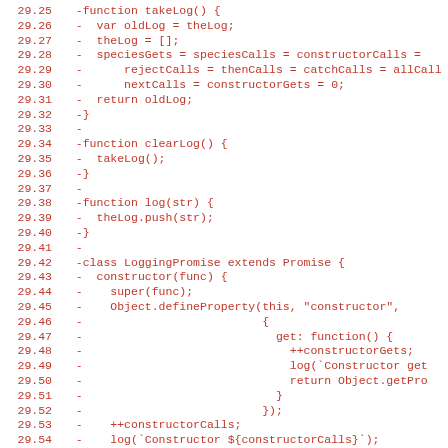Code diff showing lines 29.25 through 29.56 with deletions marked by '-', including functions takeLog, clearLog, log, and class LoggingPromise extending Promise